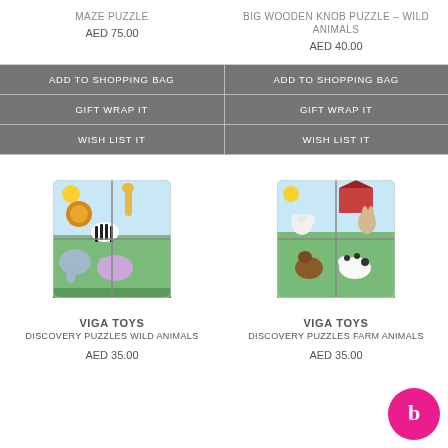MAZE PUZZLE
BIG WOODEN KNOB PUZZLE - WILD ANIMALS
AED 75.00
AED 40.00
ADD TO SHOPPING BAG
ADD TO SHOPPING BAG
GIFT WRAP IT
GIFT WRAP IT
WISH LIST IT
WISH LIST IT
[Figure (photo): Viga Toys Discovery Puzzles Wild Animals - colorful wooden puzzle with safari animals including lion, giraffe, zebra, elephant, and hippo on green background]
[Figure (photo): Viga Toys Discovery Puzzles Farm Animals - colorful wooden puzzle with farm animals including sheep, dog/rabbit, horse, and cow on green farm background]
VIGA TOYS
DISCOVERY PUZZLES WILD ANIMALS
VIGA TOYS
DISCOVERY PUZZLES FARM ANIMALS
AED 35.00
AED 35.00